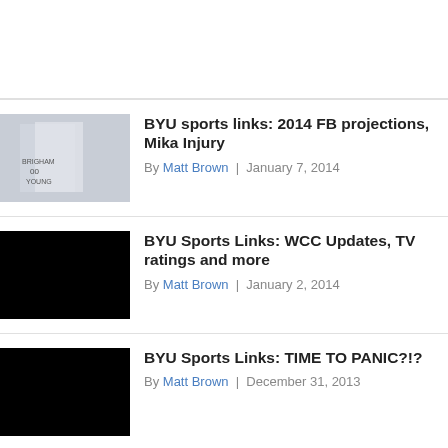[Figure (photo): BYU basketball player wearing number 00 Brigham Young jersey on court]
BYU sports links: 2014 FB projections, Mika Injury
By Matt Brown | January 7, 2014
[Figure (photo): Black/dark image thumbnail]
BYU Sports Links: WCC Updates, TV ratings and more
By Matt Brown | January 2, 2014
[Figure (photo): Black/dark image thumbnail]
BYU Sports Links: TIME TO PANIC?!?
By Matt Brown | December 31, 2013
[Figure (photo): Partially visible black thumbnail at bottom]